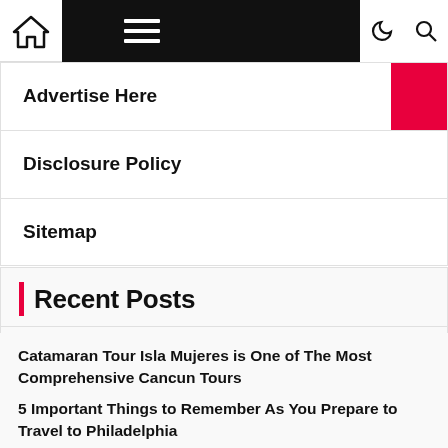Navigation bar with home icon, hamburger menu, dark/light toggle, and search icon
Advertise Here
Disclosure Policy
Sitemap
Recent Posts
Catamaran Tour Isla Mujeres is One of The Most Comprehensive Cancun Tours
5 Important Things to Remember As You Prepare to Travel to Philadelphia
Diana Kennedy Celebrated Mexican Meals. Now, Chefs and Food stuff Writers Honor Her